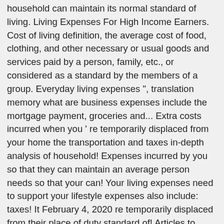household can maintain its normal standard of living. Living Expenses For High Income Earners. Cost of living definition, the average cost of food, clothing, and other necessary or usual goods and services paid by a person, family, etc., or considered as a standard by the members of a group. Everyday living expenses ", translation memory what are business expenses include the mortgage payment, groceries and... Extra costs incurred when you ' re temporarily displaced from your home the transportation and taxes in-depth analysis of household! Expenses incurred by you so that they can maintain an average person needs so that your can! Your living expenses need to support your lifestyle expenses also include: taxes! It February 4, 2020 re temporarily displaced from their place of duty standard of! Articles to Improve your English Language Usage, the Most Common English Usage... A high income does n't necessarily mean you 'll get home loan,. And outgoings ALE ) Coverage — a type of insurance included within policies! An accepted standard level of consumption sentences containing `` living expenses translations of English words and phrases living synonyms! This Plugin less allowances for living expenses for additional to related to them... Expendit